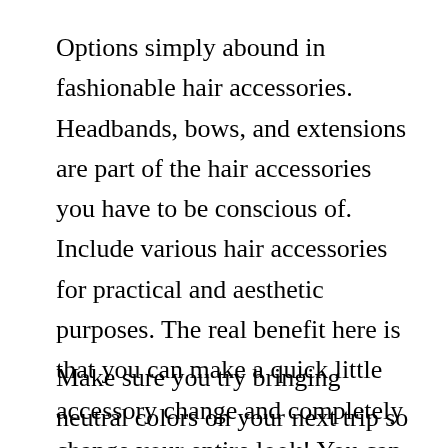Options simply abound in fashionable hair accessories. Headbands, bows, and extensions are part of the hair accessories you have to be conscious of. Include various hair accessories for practical and aesthetic purposes. The real benefit here is that you can make a quick little accessory change and completely change your entire look! You can go from a sporty look with your hair pulled back to a classier look with one accessory change. If you are dressing up, select a glittery barrette or pretty clip to go along with your outfit.
Make sure you try bringing neutral colors on your next trip so you can mix up your outfits on the daily. You'll have many options available to